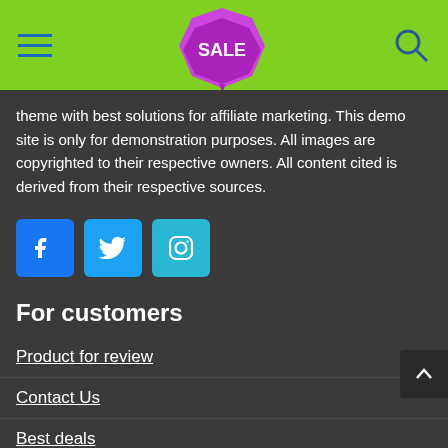SALE [navigation header with sale badge logo and search icon]
theme with best solutions for affiliate marketing. This demo site is only for demonstration purposes. All images are copyrighted to their respective owners. All content cited is derived from their respective sources.
[Figure (illustration): Three social media icon buttons: Facebook (blue), Twitter (light blue), Instagram (cyan)]
For customers
Product for review
Contact Us
Best deals
Catalog
For vendors